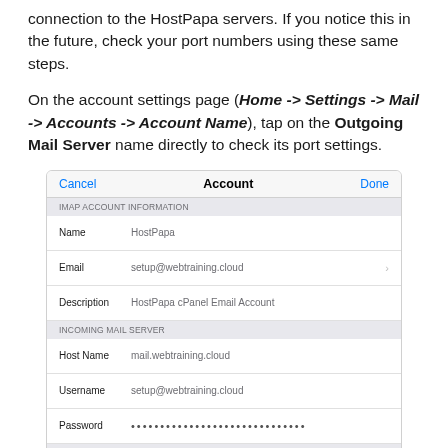connection to the HostPapa servers. If you notice this in the future, check your port numbers using these same steps.
On the account settings page (Home -> Settings -> Mail -> Accounts -> Account Name), tap on the Outgoing Mail Server name directly to check its port settings.
[Figure (screenshot): iOS mail account settings screen showing IMAP Account Information (Name: HostPapa, Email: setup@webtraining.cloud, Description: HostPapa cPanel Email Account), Incoming Mail Server (Host Name: mail.webtraining.cloud, Username: setup@webtraining.cloud, Password: ••••••••••••••••••••••••••••••), and Outgoing Mail Server section with SMTP field showing mail.webtraining.cloud highlighted in a red box with a right arrow.]